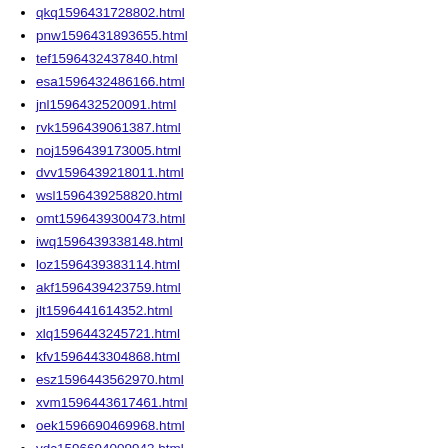qkq1596431728802.html
pnw1596431893655.html
tef1596432437840.html
esa1596432486166.html
jnl1596432520091.html
rvk1596439061387.html
noj1596439173005.html
dvv1596439218011.html
wsl1596439258820.html
omt1596439300473.html
iwq1596439338148.html
loz1596439383114.html
akf1596439423759.html
jlt1596441614352.html
xlq1596443245721.html
kfv1596443304868.html
esz1596443562970.html
xvm1596443617461.html
oek1596690469968.html
ydc1596694009943.html
yul1596694167814.html
umc1596694372841.html
pkg1596694414350.html
arr1596694454529.html
vvx1596694513790.html